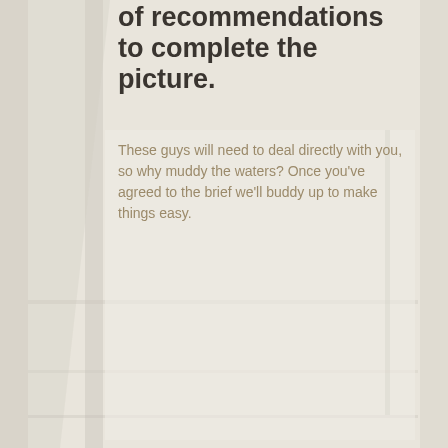[Figure (photo): Background photo of an interior room scene, muted and washed out in light beige/grey tones, showing furniture or architectural elements softly out of focus]
of recommendations to complete the picture.
These guys will need to deal directly with you, so why muddy the waters? Once you've agreed to the brief we'll buddy up to make things easy.